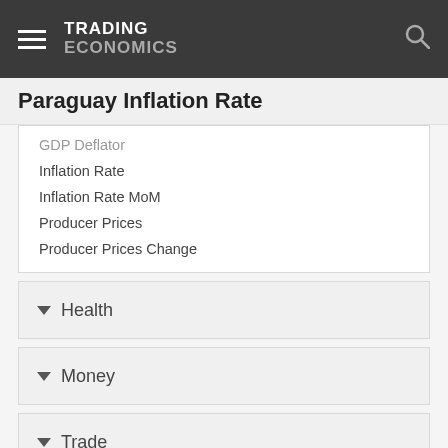TRADING ECONOMICS
Paraguay Inflation Rate
GDP Deflator
Inflation Rate
Inflation Rate MoM
Producer Prices
Producer Prices Change
Health
Money
Trade
Government
Business